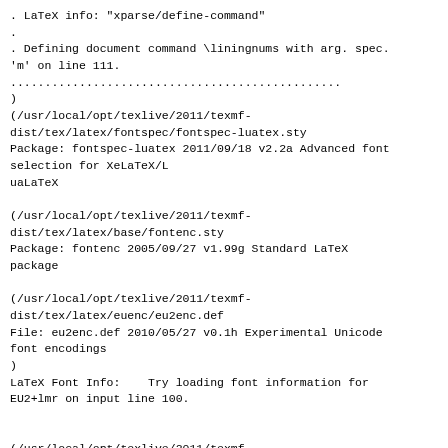. LaTeX info: "xparse/define-command"
.
. Defining document command \liningnums with arg. spec.
'm' on line 111.
................................................
)
(/usr/local/opt/texlive/2011/texmf-dist/tex/latex/fontspec/fontspec-luatex.sty
Package: fontspec-luatex 2011/09/18 v2.2a Advanced font selection for XeLaTeX/L
uaLaTeX

(/usr/local/opt/texlive/2011/texmf-dist/tex/latex/base/fontenc.sty
Package: fontenc 2005/09/27 v1.99g Standard LaTeX package

(/usr/local/opt/texlive/2011/texmf-dist/tex/latex/euenc/eu2enc.def
File: eu2enc.def 2010/05/27 v0.1h Experimental Unicode font encodings
)
LaTeX Font Info:    Try loading font information for EU2+lmr on input line 100.


(/usr/local/opt/texlive/2011/texmf-dist/tex/latex/euenc/eu2lmr.fd
File: eu2lmr.fd 2009/10/30 v1.6 Font defs for Latin Modern